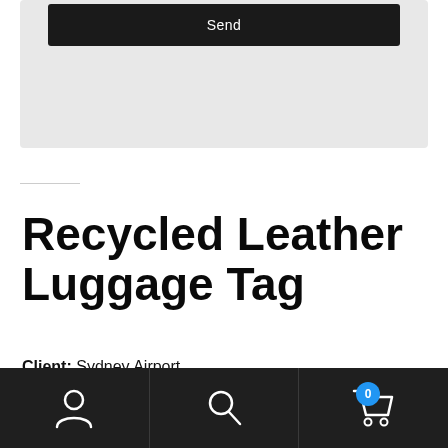[Figure (screenshot): Send button on a dark background form card, part of a web interface]
Recycled Leather Luggage Tag
Client: Sydney Airport
[Figure (screenshot): Bottom navigation bar with user/account icon, search icon, and shopping cart icon with badge showing 0]